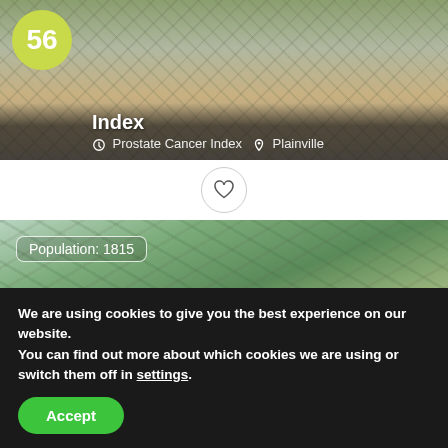[Figure (photo): Aerial view of suburban neighborhood with the number 56 in a yellow-green circle badge, title 'Index', Prostate Cancer Index and Plainville labels]
[Figure (photo): Aerial drone photo of suburban neighborhood with Population: 1815 label, score badge 85 in green circle, title '02763, Attleboro Falls, Massachusetts - Prostate Cancer Index']
We are using cookies to give you the best experience on our website.
You can find out more about which cookies we are using or switch them off in settings.
Accept